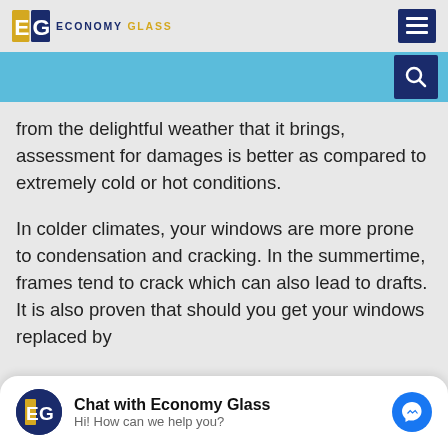ECONOMY GLASS
from the delightful weather that it brings, assessment for damages is better as compared to extremely cold or hot conditions.
In colder climates, your windows are more prone to condensation and cracking. In the summertime, frames tend to crack which can also lead to drafts. It is also proven that should you get your windows replaced by
Chat with Economy Glass
Hi! How can we help you?